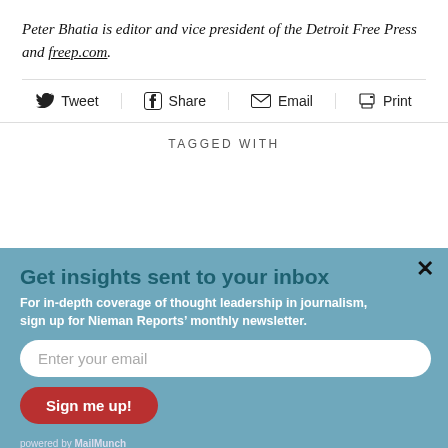Peter Bhatia is editor and vice president of the Detroit Free Press and freep.com.
Tweet  Share  Email  Print
TAGGED WITH
Get insights sent to your inbox
For in-depth coverage of thought leadership in journalism, sign up for Nieman Reports' monthly newsletter.
Enter your email
Sign me up!
powered by MailMunch